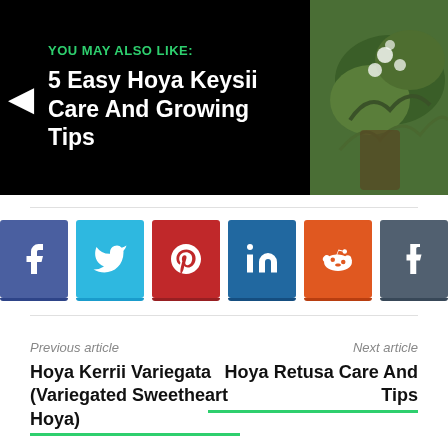[Figure (infographic): You may also like banner with arrow, title '5 Easy Hoya Keysii Care And Growing Tips' on black background with plant image on right]
[Figure (infographic): Social sharing buttons: Facebook (blue), Twitter (cyan), Pinterest (red), LinkedIn (dark blue), Reddit (orange), Tumblr (grey-blue)]
Previous article
Hoya Kerrii Variegata (Variegated Sweetheart Hoya)
Next article
Hoya Retusa Care And Tips